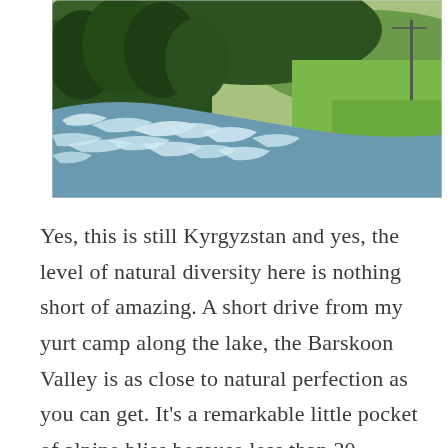[Figure (photo): A fast-flowing glacial river with white rapids, flanked by rocky banks on the right side and dense green trees on the left. Green meadows and hills visible in the background under a bright sky. The scene is from the Barskoon Valley in Kyrgyzstan.]
Yes, this is still Kyrgyzstan and yes, the level of natural diversity here is nothing short of amazing. A short drive from my yurt camp along the lake, the Barskoon Valley is as close to natural perfection as you can get. It's a remarkable little pocket of alpine bliss because less than 30 minutes away is the red cracked clay of a much more arid part of the country. But in Barskoon it's all about massive snow covered mountains, crystal clear streams and waterfalls that have been attracting curious